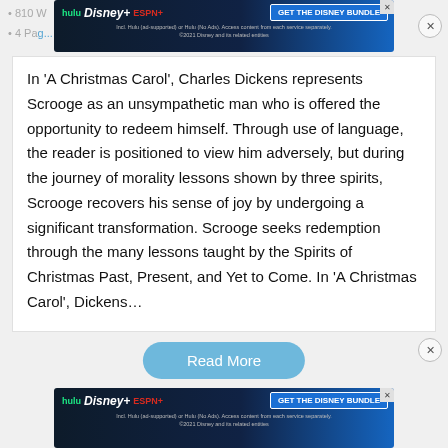[Figure (screenshot): Hulu Disney+ ESPN+ Get The Disney Bundle advertisement banner at top]
In 'A Christmas Carol', Charles Dickens represents Scrooge as an unsympathetic man who is offered the opportunity to redeem himself. Through use of language, the reader is positioned to view him adversely, but during the journey of morality lessons shown by three spirits, Scrooge recovers his sense of joy by undergoing a significant transformation. Scrooge seeks redemption through the many lessons taught by the Spirits of Christmas Past, Present, and Yet to Come. In 'A Christmas Carol', Dickens…
Read More
[Figure (screenshot): Hulu Disney+ ESPN+ Get The Disney Bundle advertisement banner at bottom]